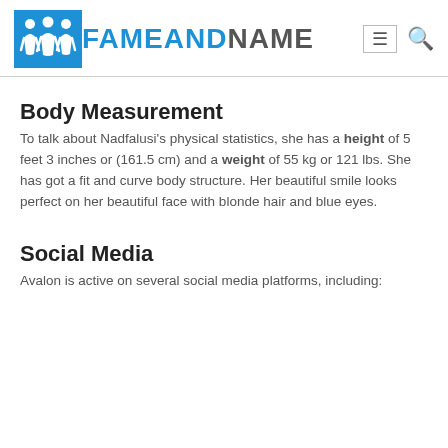FAMEANDNAME
Body Measurement
To talk about Nadfalusi's physical statistics, she has a height of 5 feet 3 inches or (161.5 cm) and a weight of 55 kg or 121 lbs. She has got a fit and curve body structure. Her beautiful smile looks perfect on her beautiful face with blonde hair and blue eyes.
Social Media
Avalon is active on several social media platforms, including: